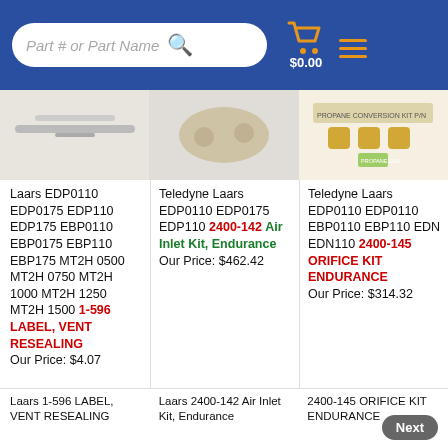Part # or Part Name  $0.00
[Figure (screenshot): Product images: partial heater parts on left, air inlet kit middle, propane orifice conversion kit on right]
Laars EDP0110 EDP0175 EDP110 EDP175 EBP0110 EBP0175 EBP110 EBP175 MT2H 0500 MT2H 0750 MT2H 1000 MT2H 1250 MT2H 1500 1-596 LABEL, VENT RESEALING
Our Price: $4.07
Teledyne Laars EDP0110 EDP0175 EDP110 2400-142 Air Inlet Kit, Endurance
Our Price: $462.42
Teledyne Laars EDP0110 EDP0110 EBP0110 EBP110 EDN EDN110 2400-145 ORIFICE KIT ENDURANCE
Our Price: $314.32
Laars 1-596 LABEL, VENT RESEALING
Laars 2400-142 Air Inlet Kit, Endurance
2400-145 ORIFICE KIT ENDURANCE